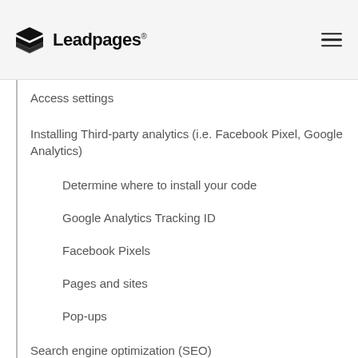[Figure (logo): Leadpages logo with stacked layers icon and wordmark]
Access settings
Installing Third-party analytics (i.e. Facebook Pixel, Google Analytics)
Determine where to install your code
Google Analytics Tracking ID
Facebook Pixels
Pages and sites
Pop-ups
Search engine optimization (SEO)
Facebook Preview